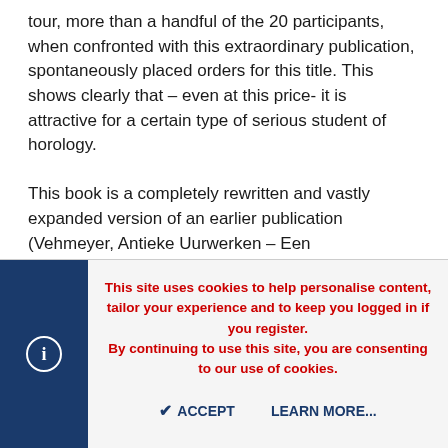tour, more than a handful of the 20 participants, when confronted with this extraordinary publication, spontaneously placed orders for this title. This shows clearly that – even at this price- it is attractive for a certain type of serious student of horology.

This book is a completely rewritten and vastly expanded version of an earlier publication (Vehmeyer, Antieke Uurwerken – Een familienverzameling, 1994, 624 pages, ISBN 90–6194-188-1). The main difference is that the original edition was written in Dutch, and the current one is all in English, making the work vastly more accessible to most American collectors. Both editions are basically a detailed history of the mechanical clock in Europe, illustrated primarily with examples from the extraordinary collection of the author's family. The 1994 edition showed 233 clocks in detail; the 2004 edition has grown to 330
This site uses cookies to help personalise content, tailor your experience and to keep you logged in if you register.
By continuing to use this site, you are consenting to our use of cookies.